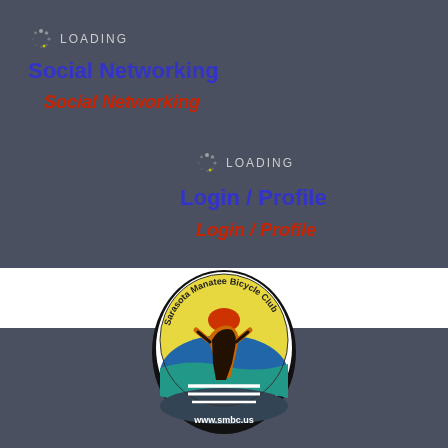[Figure (screenshot): Loading spinner icon with dots arranged in a circle]
Social Networking
Social Networking (italic red)
[Figure (screenshot): Second loading spinner icon with dots arranged in a circle]
Login / Profile
Login / Profile (italic red)
[Figure (logo): Sarasota Manatee Bicycle Club logo - oval badge with cyclist figure, yellow and blue design, www.smbc.us text at bottom]